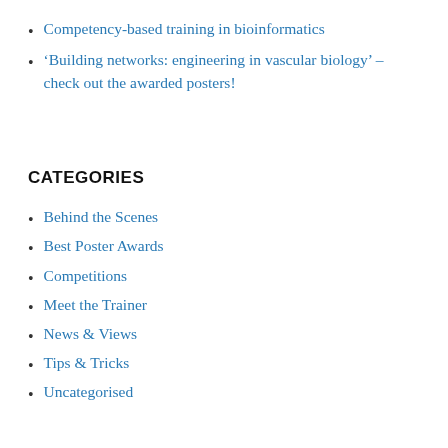Competency-based training in bioinformatics
‘Building networks: engineering in vascular biology’ – check out the awarded posters!
CATEGORIES
Behind the Scenes
Best Poster Awards
Competitions
Meet the Trainer
News & Views
Tips & Tricks
Uncategorised